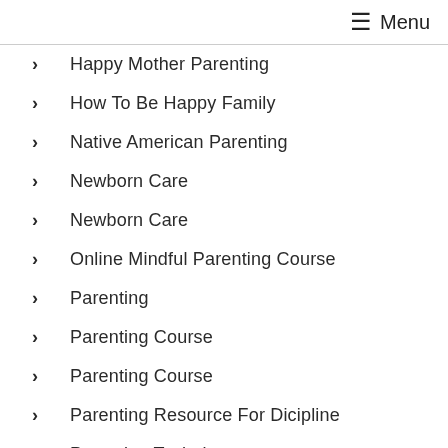≡ Menu
Happy Mother Parenting
How To Be Happy Family
Native American Parenting
Newborn Care
Newborn Care
Online Mindful Parenting Course
Parenting
Parenting Course
Parenting Course
Parenting Resource For Dicipline
Parenting Techniques